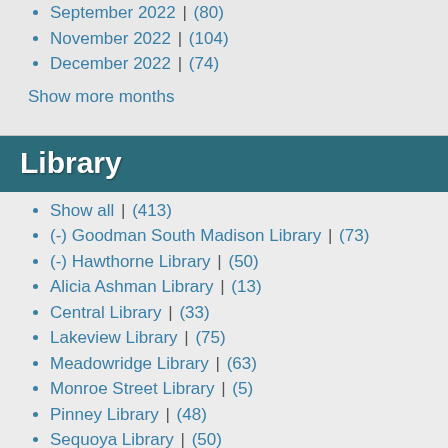September 2022 | (80)
November 2022 | (104)
December 2022 | (74)
Show more months
Library
Show all | (413)
(-) Goodman South Madison Library | (73)
(-) Hawthorne Library | (50)
Alicia Ashman Library | (13)
Central Library | (33)
Lakeview Library | (75)
Meadowridge Library | (63)
Monroe Street Library | (5)
Pinney Library | (48)
Sequoya Library | (50)
System Wide | (3)